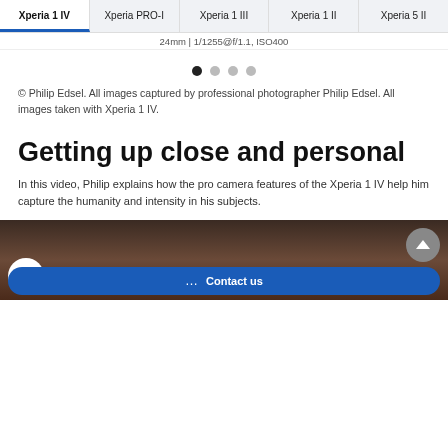Xperia 1 IV | Xperia PRO-I | Xperia 1 III | Xperia 1 II | Xperia 5 II
24mm | 1/1255@f/1.1, ISO400
[Figure (other): Carousel pagination dots — 4 dots with first active]
© Philip Edsel. All images captured by professional photographer Philip Edsel. All images taken with Xperia 1 IV.
Getting up close and personal
In this video, Philip explains how the pro camera features of the Xperia 1 IV help him capture the humanity and intensity in his subjects.
[Figure (screenshot): Video thumbnail showing Xperia 1 IV promo video with Sony Xperia logo, title text 'Xperia 1 IV – In th...' and a Contact us button overlay]